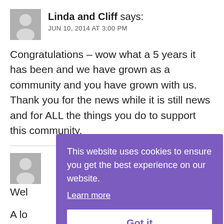Linda and Cliff says:
JUN 10, 2014 AT 3:00 PM
Congratulations – wow what a 5 years it has been and we have grown as a community and you have grown with us. Thank you for the news while it is still news and for ALL the things you do to support this community.
Wel
A lo
for
community.
[Figure (screenshot): Cookie consent overlay with purple background, text 'This website uses cookies to ensure you get the best experience on our website.', a 'Learn more' underlined link, and a white 'Got it' button.]